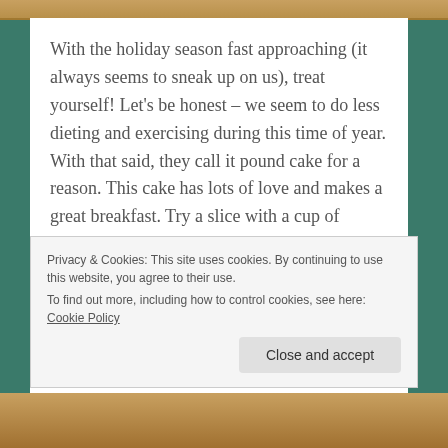[Figure (photo): Top image strip showing food (pound cake) in warm golden/brown tones]
With the holiday season fast approaching (it always seems to sneak up on us), treat yourself! Let's be honest – we seem to do less dieting and exercising during this time of year. With that said, they call it pound cake for a reason. This cake has lots of love and makes a great breakfast. Try a slice with a cup of coffee while you're preparing Thanksgiving or Christmas dinner and enjoy. This cake is extremely moist, rich and satisfying without cholesterol. Pound it!
Privacy & Cookies: This site uses cookies. By continuing to use this website, you agree to their use.
To find out more, including how to control cookies, see here: Cookie Policy
[Figure (photo): Bottom image strip showing food (pound cake) in warm golden/brown tones]